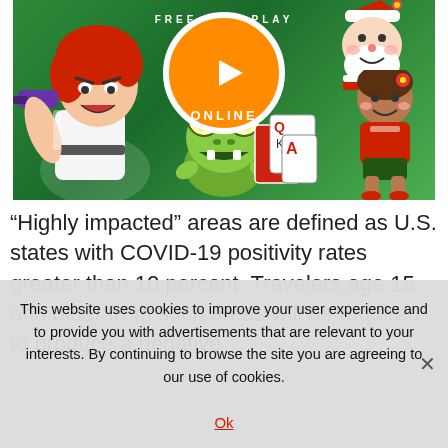[Figure (illustration): Gaming promotional banner with anime-style characters, a frog creature, playing cards, a soccer kid, Santa Claus, and a large orange 'FREE PLAY ONLINE' button circle on a green background.]
“Highly impacted” areas are defined as U.S. states with COVID-19 positivity rates greater than 10 percent. Travelers age 15 and older from such areas will be required to produce a negative
This website uses cookies to improve your user experience and to provide you with advertisements that are relevant to your interests. By continuing to browse the site you are agreeing to our use of cookies.
Ok